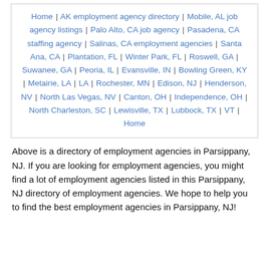Home | AK employment agency directory | Mobile, AL job agency listings | Palo Alto, CA job agency | Pasadena, CA staffing agency | Salinas, CA employment agencies | Santa Ana, CA | Plantation, FL | Winter Park, FL | Roswell, GA | Suwanee, GA | Peoria, IL | Evansville, IN | Bowling Green, KY | Metairie, LA | LA | Rochester, MN | Edison, NJ | Henderson, NV | North Las Vegas, NV | Canton, OH | Independence, OH | North Charleston, SC | Lewisville, TX | Lubbock, TX | VT | Home
Above is a directory of employment agencies in Parsippany, NJ. If you are looking for employment agencies, you might find a lot of employment agencies listed in this Parsippany, NJ directory of employment agencies. We hope to help you to find the best employment agencies in Parsippany, NJ!